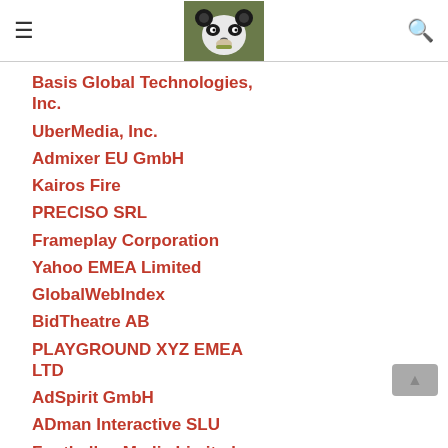[Hamburger menu] [Panda image] [Search icon]
Basis Global Technologies, Inc.
UberMedia, Inc.
Admixer EU GmbH
Kairos Fire
PRECISO SRL
Frameplay Corporation
Yahoo EMEA Limited
GlobalWebIndex
BidTheatre AB
PLAYGROUND XYZ EMEA LTD
AdSpirit GmbH
ADman Interactive SLU
Footballco Media Limited